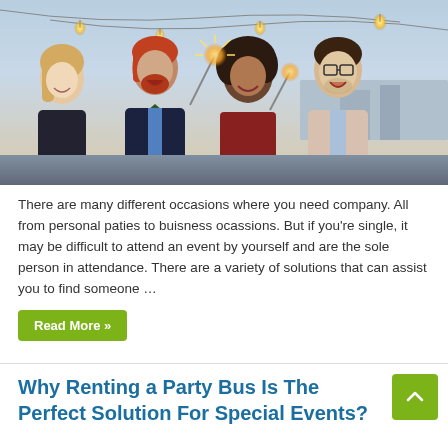[Figure (photo): Group of four people laughing and celebrating outdoors at night with sparklers, string lights in background. Two women and two men dressed in party attire.]
There are many different occasions where you need company. All from personal paties to buisness ocassions. But if you're single, it may be difficult to attend an event by yourself and are the sole person in attendance. There are a variety of solutions that can assist you to find someone …
Read More »
Why Renting a Party Bus Is The Perfect Solution For Special Events?